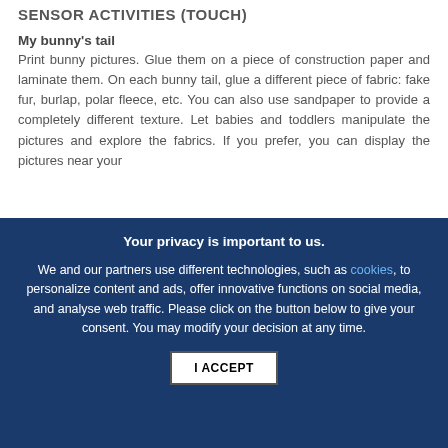SENSOR ACTIVITIES (touch)
My bunny's tail
Print bunny pictures. Glue them on a piece of construction paper and laminate them. On each bunny tail, glue a different piece of fabric: fake fur, burlap, polar fleece, etc. You can also use sandpaper to provide a completely different texture. Let babies and toddlers manipulate the pictures and explore the fabrics. If you prefer, you can display the pictures near your
Your privacy is important to us.

We and our partners use different technologies, such as cookies, to personalize content and ads, offer innovative functions on social media, and analyse web traffic. Please click on the button below to give your consent. You may modify your decision at any time.

I ACCEPT